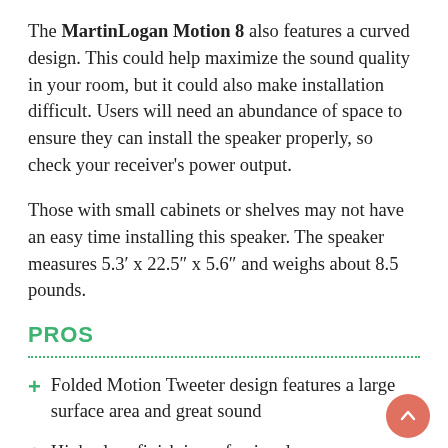The MartinLogan Motion 8 also features a curved design. This could help maximize the sound quality in your room, but it could also make installation difficult. Users will need an abundance of space to ensure they can install the speaker properly, so check your receiver's power output.
Those with small cabinets or shelves may not have an easy time installing this speaker. The speaker measures 5.3' x 22.5" x 5.6" and weighs about 8.5 pounds.
PROS
Folded Motion Tweeter design features a large surface area and great sound
High-gloss finish is professional